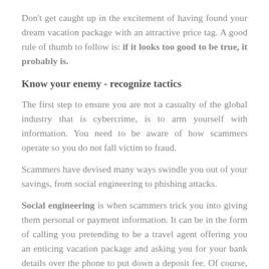Don't get caught up in the excitement of having found your dream vacation package with an attractive price tag. A good rule of thumb to follow is: if it looks too good to be true, it probably is.
Know your enemy - recognize tactics
The first step to ensure you are not a casualty of the global industry that is cybercrime, is to arm yourself with information. You need to be aware of how scammers operate so you do not fall victim to fraud.
Scammers have devised many ways swindle you out of your savings, from social engineering to phishing attacks.
Social engineering is when scammers trick you into giving them personal or payment information. It can be in the form of calling you pretending to be a travel agent offering you an enticing vacation package and asking you for your bank details over the phone to put down a deposit fee. Of course, then they vanish with your deposit, and you are unable to contact them again.